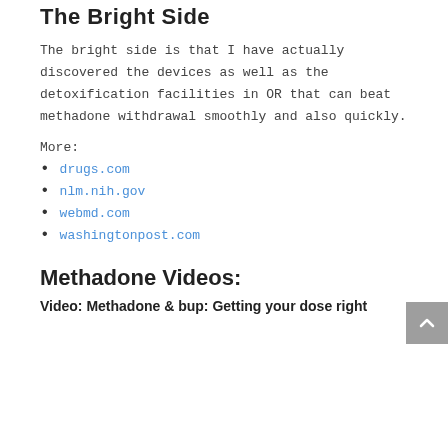The Bright Side
The bright side is that I have actually discovered the devices as well as the detoxification facilities in OR that can beat methadone withdrawal smoothly and also quickly.
More:
drugs.com
nlm.nih.gov
webmd.com
washingtonpost.com
Methadone Videos:
Video: Methadone & bup: Getting your dose right